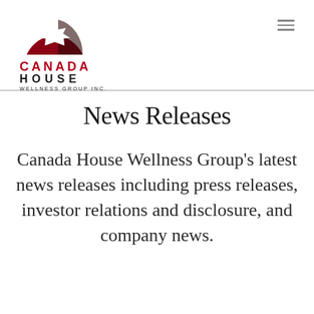[Figure (logo): Canada House Wellness Group Inc. logo: red and black semi-circle with white maple leaf, text CANADA in red bold, HOUSE in black bold, WELLNESS GROUP INC. below]
News Releases
Canada House Wellness Group's latest news releases including press releases, investor relations and disclosure, and company news.